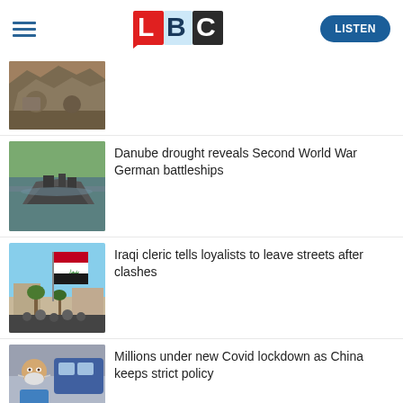LBC
[Figure (photo): News thumbnail 1: rubble/rocks]
[Figure (photo): News thumbnail 2: sunken German battleships in Danube river]
Danube drought reveals Second World War German battleships
[Figure (photo): News thumbnail 3: Iraqi flag with crowd]
Iraqi cleric tells loyalists to leave streets after clashes
[Figure (photo): News thumbnail 4: man with mask]
Millions under new Covid lockdown as China keeps strict policy